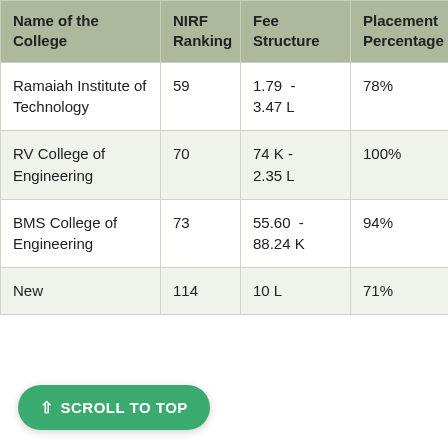| Name of the College | NIRF Ranking | Fee Structure | Placement Percentage | Ent Exa |
| --- | --- | --- | --- | --- |
| Ramaiah Institute of Technology | 59 | 1.79 - 3.47 L | 78% | KCE |
| RV College of Engineering | 70 | 74 K - 2.35 L | 100% | KCE CON |
| BMS College of Engineering | 73 | 55.60 - 88.24 K | 94% | KCE CON |
| New | 114 | 10 L | 71% | KCE |